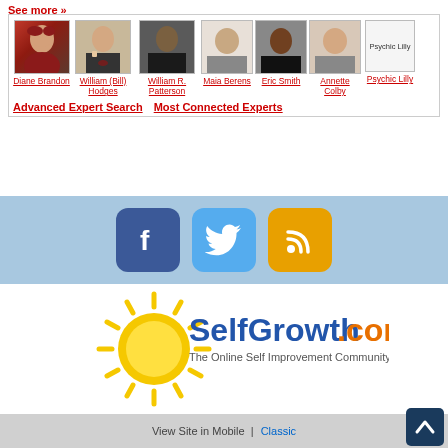See more »
[Figure (photo): Expert profile photos: Diane Brandon, William (Bill) Hodges, William R. Patterson, Maia Berens, Eric Smith, Annette Colby, Psychic Lilly]
Diane Brandon
William (Bill) Hodges
William R. Patterson
Maia Berens
Eric Smith
Annette Colby
Psychic Lilly
Advanced Expert Search   Most Connected Experts
[Figure (illustration): Facebook, Twitter, and RSS social media icon buttons]
[Figure (logo): SelfGrowth.com logo with sun graphic — The Online Self Improvement Community]
View Site in Mobile  |  Classic